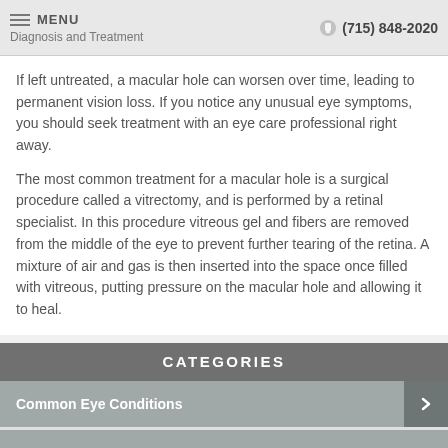Diagnosis and Treatment | (715) 848-2020
If left untreated, a macular hole can worsen over time, leading to permanent vision loss. If you notice any unusual eye symptoms, you should seek treatment with an eye care professional right away.
The most common treatment for a macular hole is a surgical procedure called a vitrectomy, and is performed by a retinal specialist. In this procedure vitreous gel and fibers are removed from the middle of the eye to prevent further tearing of the retina. A mixture of air and gas is then inserted into the space once filled with vitreous, putting pressure on the macular hole and allowing it to heal.
CATEGORIES
Common Eye Conditions
Contact Lenses